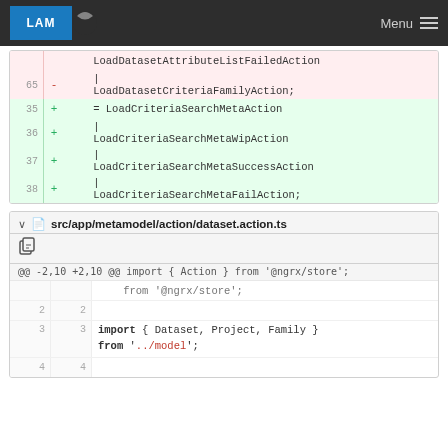LAM  Menu
[Figure (screenshot): Code diff showing removal of LoadDatasetAttributeListFailedAction and LoadDatasetCriteriaFamilyAction on line 65, and addition of lines 35-38 with LoadCriteriaSearchMetaAction, LoadCriteriaSearchMetaWipAction, LoadCriteriaSearchMetaSuccessAction, LoadCriteriaSearchMetaFailAction]
[Figure (screenshot): File section header for src/app/metamodel/action/dataset.action.ts with diff hunk @@ -2,10 +2,10 @@ import { Action } from '@ngrx/store'; Lines 2,3 shown with import { Dataset, Project, Family } from '../model'; Line 4 shown.]